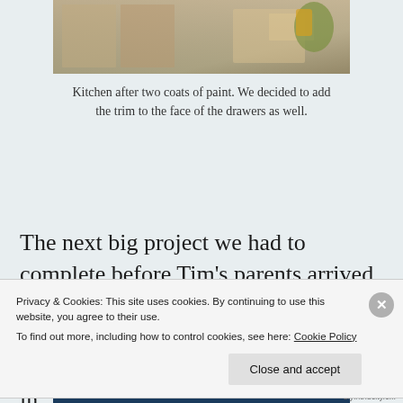[Figure (photo): Partial image of a kitchen showing cabinets after two coats of paint, with a plant and tools visible]
Kitchen after two coats of paint. We decided to add the trim to the face of the drawers as well.
The next big project we had to complete before Tim's parents arrived was the flooring. We chose a laminate that looks like a dark hand-scraped hickory by Evoke. Tim was confident in
Privacy & Cookies: This site uses cookies. By continuing to use this website, you agree to their use.
To find out more, including how to control cookies, see here: Cookie Policy

Close and accept
diyinthecity.c...